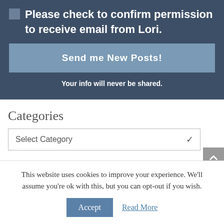Please check to confirm permission to receive email from Lori.
Send me New Posts!
Your info will never be shared.
Categories
Select Category
This website uses cookies to improve your experience. We'll assume you're ok with this, but you can opt-out if you wish.
Accept
Read More